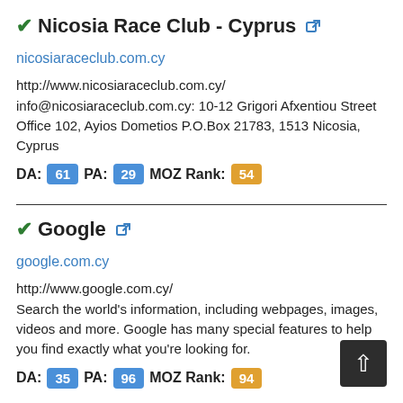Nicosia Race Club - Cyprus
nicosiaraceclub.com.cy
http://www.nicosiaraceclub.com.cy/
info@nicosiaraceclub.com.cy: 10-12 Grigori Afxentiou Street Office 102, Ayios Dometios P.O.Box 21783, 1513 Nicosia, Cyprus
DA: 61 PA: 29 MOZ Rank: 54
Google
google.com.cy
http://www.google.com.cy/
Search the world's information, including webpages, images, videos and more. Google has many special features to help you find exactly what you're looking for.
DA: 35 PA: 96 MOZ Rank: 94